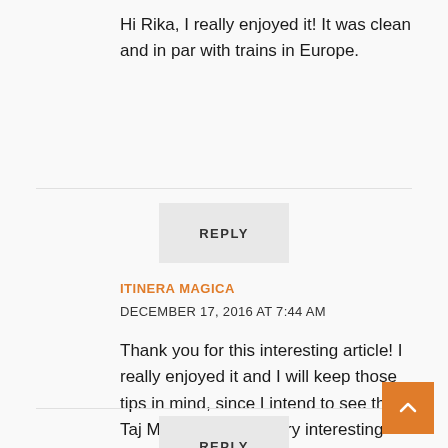Hi Rika, I really enjoyed it! It was clean and in par with trains in Europe.
REPLY
ITINERA MAGICA
DECEMBER 17, 2016 AT 7:44 AM
Thank you for this interesting article! I really enjoyed it and I will keep those tips in mind, since I intend to see the Taj Mahal one day. Very interesting view points in your picture. Really a beautiful sight! Pinning this for later 🙂
REPLY